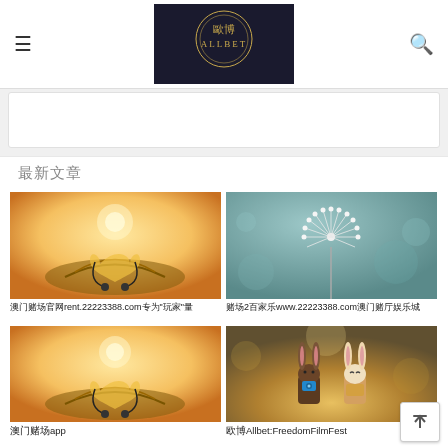≡  歐博 ALLBET  🔍
[Figure (other): Advertisement banner placeholder, white background]
最新文章
[Figure (photo): Open book with headphone cord forming heart shapes, warm golden light background]
澳门赌场官网rent.22223388.com专为"玩家"量
[Figure (photo): White fluffy dandelion seed against teal blurred background]
赌场2百家乐www.22223388.com澳门赌厅娱乐城
[Figure (photo): Open book with headphone cord forming heart shapes, warm golden light, same as first image]
澳门赌场app
[Figure (photo): Two cute bunny figurines standing together in warm bokeh light, one holding a camera]
欧博Allbet:FreedomFilmFest